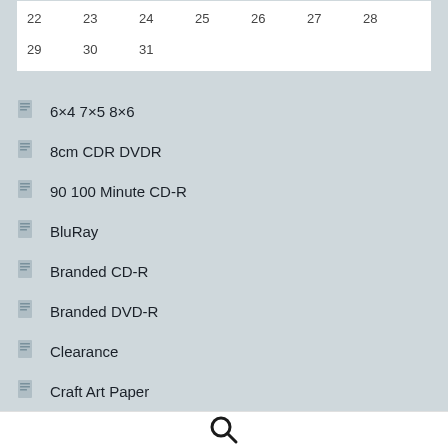| 22 | 23 | 24 | 25 | 26 | 27 | 28 |
| 29 | 30 | 31 |  |  |  |  |
6×4 7×5 8×6
8cm CDR DVDR
90 100 Minute CD-R
BluRay
Branded CD-R
Branded DVD-R
Clearance
Craft Art Paper
[Figure (other): Search magnifying glass icon in bottom navigation bar]